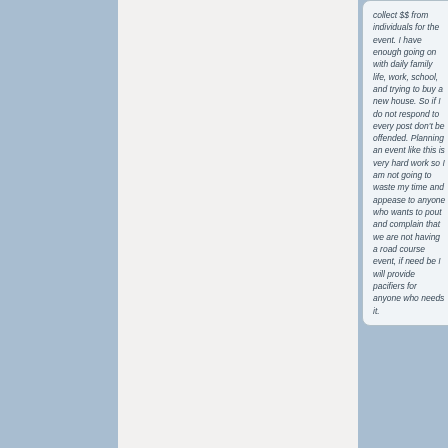collect $$ from individuals for the event. I have enough going on with daily family life, work, school, and trying to buy a new house. So if I do not respond to every post don't be offended. Planning an event like this is very hard work so I am not going to waste my time and appease to anyone who wants to pout and complain that we are not having a road course event, if need be I will provide pacifiers for anyone who needs it.